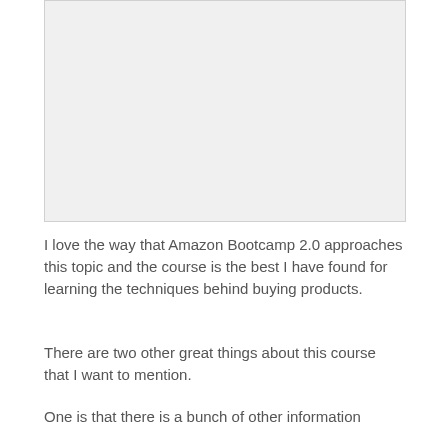[Figure (other): Placeholder image area, light gray rectangle]
I love the way that Amazon Bootcamp 2.0 approaches this topic and the course is the best I have found for learning the techniques behind buying products.
There are two other great things about this course that I want to mention.
One is that there is a bunch of other information